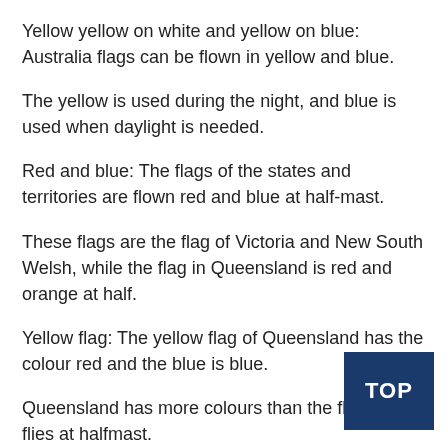Yellow yellow on white and yellow on blue: Australia flags can be flown in yellow and blue.
The yellow is used during the night, and blue is used when daylight is needed.
Red and blue: The flags of the states and territories are flown red and blue at half-mast.
These flags are the flag of Victoria and New South Welsh, while the flag in Queensland is red and orange at half.
Yellow flag: The yellow flag of Queensland has the colour red and the blue is blue.
Queensland has more colours than the flag that flies at halfmast.
Yellow at half: This flag of New England states is red